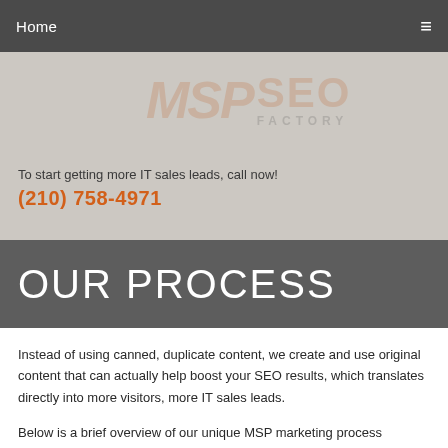Home  ≡
[Figure (logo): MSP SEO Factory watermark logo in hero section]
To start getting more IT sales leads, call now!
(210) 758-4971
OUR PROCESS
Instead of using canned, duplicate content, we create and use original content that can actually help boost your SEO results, which translates directly into more visitors, more IT sales leads.
Below is a brief overview of our unique MSP marketing process